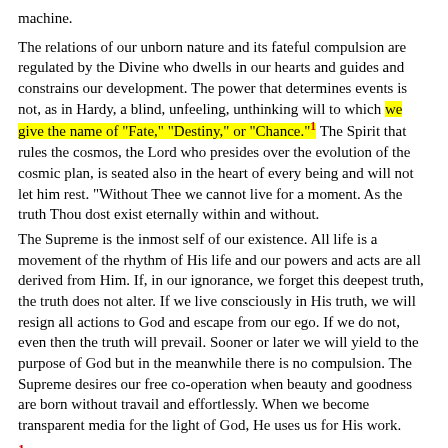machine.
The relations of our unborn nature and its fateful compulsion are regulated by the Divine who dwells in our hearts and guides and constrains our development. The power that determines events is not, as in Hardy, a blind, unfeeling, unthinking will to which we give the name of "Fate," "Destiny," or "Chance."1 The Spirit that rules the cosmos, the Lord who presides over the evolution of the cosmic plan, is seated also in the heart of every being and will not let him rest. "Without Thee we cannot live for a moment. As the truth Thou dost exist eternally within and without.
The Supreme is the inmost self of our existence. All life is a movement of the rhythm of His life and our powers and acts are all derived from Him. If, in our ignorance, we forget this deepest truth, the truth does not alter. If we live consciously in His truth, we will resign all actions to God and escape from our ego. If we do not, even then the truth will prevail. Sooner or later we will yield to the purpose of God but in the meanwhile there is no compulsion. The Supreme desires our free co-operation when beauty and goodness are born without travail and effortlessly. When we become transparent media for the light of God, He uses us for His work.
1 Like a knitter drowsed,
Whose fingers play in skilled unmindfulness
The will has woven with an absent heed
Since life first was, and ever will so weave.
Sanskrit/Devanagari text (two lines)